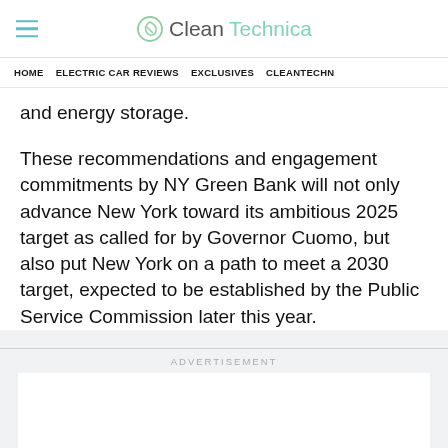CleanTechnica
HOME   ELECTRIC CAR REVIEWS   EXCLUSIVES   CLEANTECHN
and energy storage.
These recommendations and engagement commitments by NY Green Bank will not only advance New York toward its ambitious 2025 target as called for by Governor Cuomo, but also put New York on a path to meet a 2030 target, expected to be established by the Public Service Commission later this year.
ADVERTISEMENT